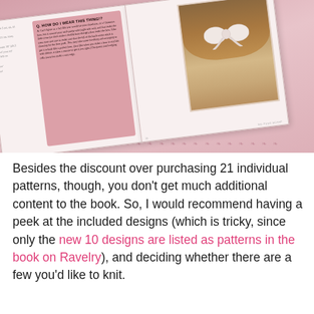[Figure (photo): A photograph of an open knitting book, rotated at an angle. The book shows a pink panel on the left page with Q&A text 'HOW DO I WEAR THIS THING!?' and a photograph on the right page of a girl wearing a large bow/scarf around her neck. The book has pink fern decorative borders.]
Besides the discount over purchasing 21 individual patterns, though, you don't get much additional content to the book. So, I would recommend having a peek at the included designs (which is tricky, since only the new 10 designs are listed as patterns in the book on Ravelry), and deciding whether there are a few you'd like to knit.